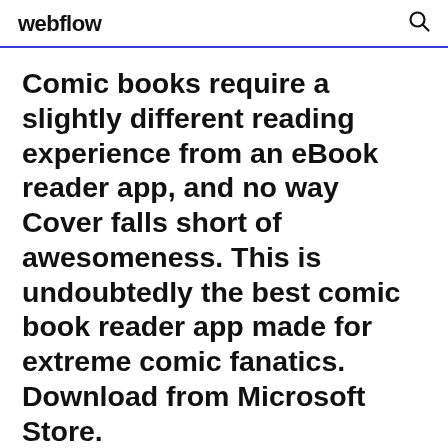webflow
Comic books require a slightly different reading experience from an eBook reader app, and no way Cover falls short of awesomeness. This is undoubtedly the best comic book reader app made for extreme comic fanatics. Download from Microsoft Store.
Zinio Magazine Reader - How to Download for PC & Mac... We grow up with one piece of